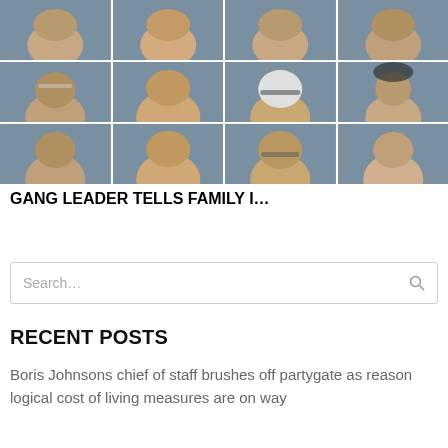[Figure (photo): Grid of mugshot photos arranged in 3 rows and 4 columns showing various individuals against a grey background]
GANG LEADER TELLS FAMILY I…
Search…
RECENT POSTS
Boris Johnsons chief of staff brushes off partygate as reason logical cost of living measures are on way